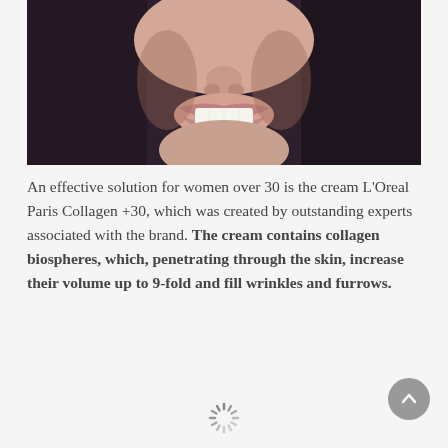[Figure (photo): Close-up photograph of a woman's face showing her smile and lower face area against a dark purple-grey background, skin tones visible]
An effective solution for women over 30 is the cream L'Oreal Paris Collagen +30, which was created by outstanding experts associated with the brand. The cream contains collagen biospheres, which, penetrating through the skin, increase their volume up to 9-fold and fill wrinkles and furrows.